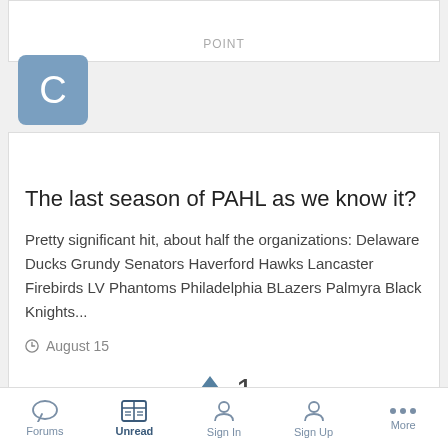POINT
The last season of PAHL as we know it?
Pretty significant hit, about half the organizations: Delaware Ducks Grundy Senators Haverford Hawks Lancaster Firebirds LV Phantoms Philadelphia BLazers Palmyra Black Knights...
August 15
↑ 1
POINT
Forums   Unread   Sign In   Sign Up   More